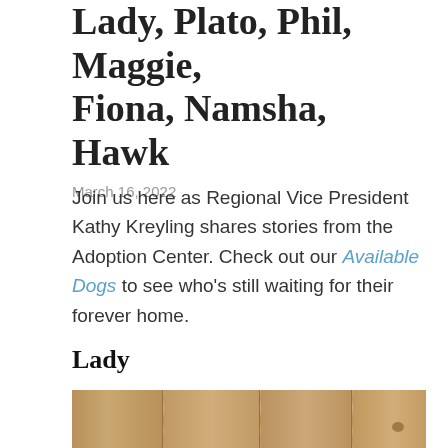Lady, Plato, Phil, Maggie, Fiona, Namsha, Hawk
March 16, 2022
Join us here as Regional Vice President Kathy Kreyling shares stories from the Adoption Center. Check out our Available Dogs to see who’s still waiting for their forever home.
Lady
[Figure (photo): Wooden plank background, light brown weathered wood panels visible, partial view of a dog at the bottom]